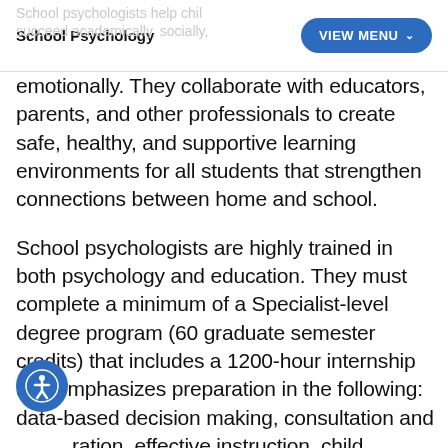School Psychology | VIEW MENU
emotionally. They collaborate with educators, parents, and other professionals to create safe, healthy, and supportive learning environments for all students that strengthen connections between home and school.
School psychologists are highly trained in both psychology and education. They must complete a minimum of a Specialist-level degree program (60 graduate semester credits) that includes a 1200-hour internship and emphasizes preparation in the following: data-based decision making, consultation and collaboration, effective instruction, child development, student diversity and